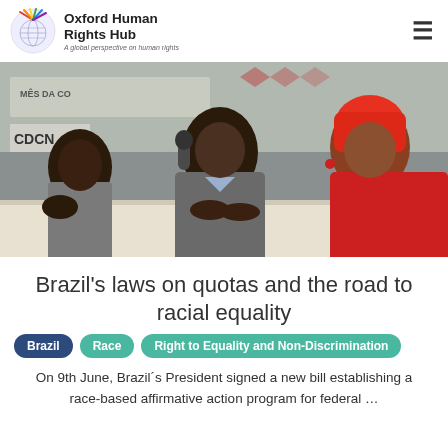Oxford Human Rights Hub — A global perspective on human rights
[Figure (photo): Three people seated at a panel table: a man on the left in a grey shirt, a man in the center in a grey suit speaking into a microphone, and a woman on the right wearing a red outfit and red headwrap. A banner in the background shows text including 'MÊS DA CO...' and 'CDCN'.]
Brazil's laws on quotas and the road to racial equality
Brazil
Race
Right to Equality and Non-Discrimination
On 9th June, Brazil´s President signed a new bill establishing a race-based affirmative action program for federal …